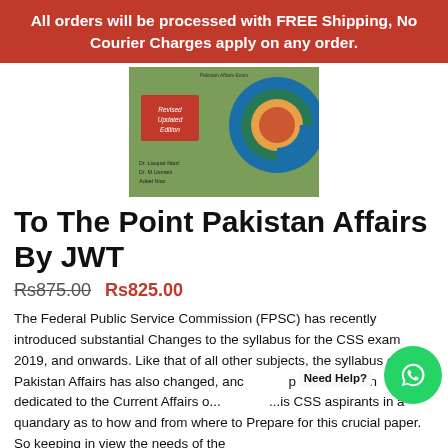All orders will be processed with FREE Shipping, No Courier Charges apply on any order.
[Figure (photo): Book cover of 'To The Point Pakistan Affairs By JWT' - Revised Updated Edition, showing green textured background with circular blue and red graphic. Authors: Dr. Liaquat Niazi, Dr. M.Usmani, Adeel Niaz]
To The Point Pakistan Affairs By JWT
Rs875.00   Rs825.00
The Federal Public Service Commission (FPSC) has recently introduced substantial Changes to the syllabus for the CSS exam 2019, and onwards. Like that of all other subjects, the syllabus of Pakistan Affairs has also changed, and p as been dedicated to the Current Affairs o... ...is CSS aspirants in a quandary as to how and from where to Prepare for this crucial paper. So keeping in view the needs of the